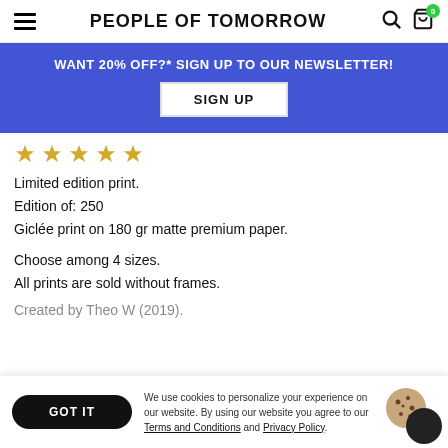PEOPLE OF TOMORROW
WANT 20% OFF?* SIGN UP TO OUR NEWSLETTER!
SIGN UP
[Figure (illustration): Five gold star rating icons in a row]
Limited edition print.
Edition of: 250
Giclée print on 180 gr matte premium paper.
Choose among 4 sizes.
All prints are sold without frames.
Created by Theo W (2019).
We use cookies to personalize your experience on our website. By using our website you agree to our Terms and Conditions and Privacy Policy.
GOT IT